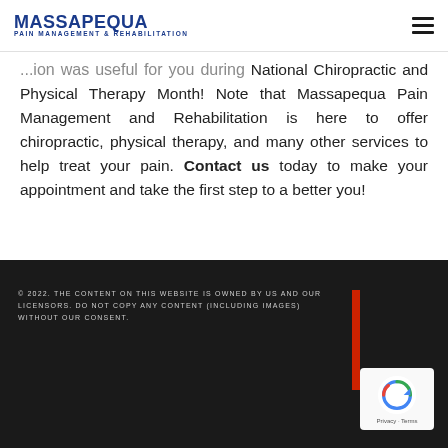MASSAPEQUA PAIN MANAGEMENT & REHABILITATION
...information was useful for you during National Chiropractic and Physical Therapy Month! Note that Massapequa Pain Management and Rehabilitation is here to offer chiropractic, physical therapy, and many other services to help treat your pain. Contact us today to make your appointment and take the first step to a better you!
© 2022. THE CONTENT ON THIS WEBSITE IS OWNED BY US AND OUR LICENSORS. DO NOT COPY ANY CONTENT (INCLUDING IMAGES) WITHOUT OUR CONSENT.